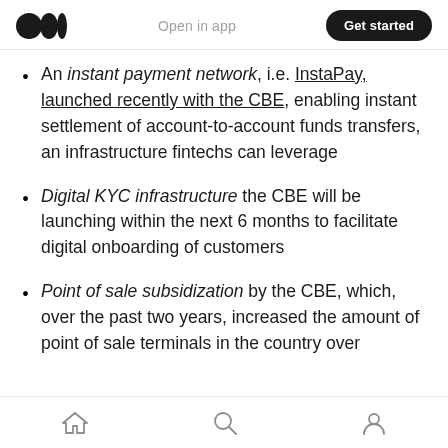Open in app | Get started
An instant payment network, i.e. InstaPay, launched recently with the CBE, enabling instant settlement of account-to-account funds transfers, an infrastructure fintechs can leverage
Digital KYC infrastructure the CBE will be launching within the next 6 months to facilitate digital onboarding of customers
Point of sale subsidization by the CBE, which, over the past two years, increased the amount of point of sale terminals in the country over
Home | Search | Profile